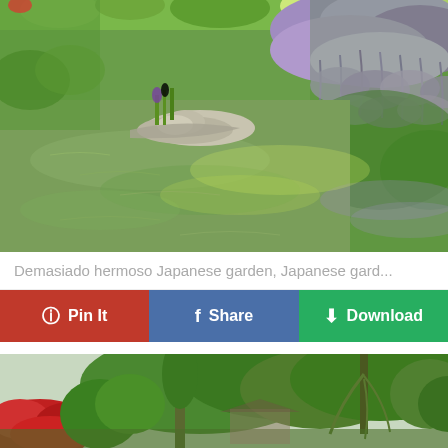[Figure (photo): A serene Japanese garden scene with a calm pond, a stone boat or dock on the left, and lush wisteria vines with purple flowers cascading on the right bank. Green reflections visible in the water.]
Demasiado hermoso Japanese garden, Japanese gard...
Pin It | Share | Download
[Figure (photo): Bottom portion of another Japanese garden photo showing tall green trees, red azalea bushes on the left, and what appears to be a traditional structure partially visible.]